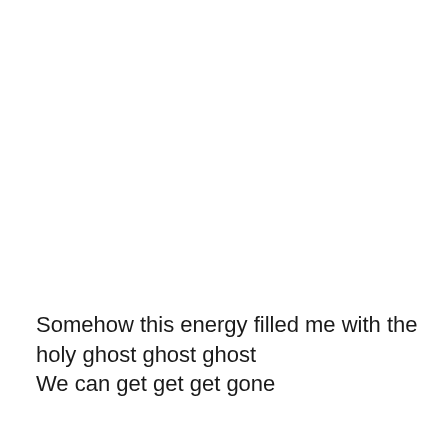Somehow this energy filled me with the holy ghost ghost ghost
We can get get get gone